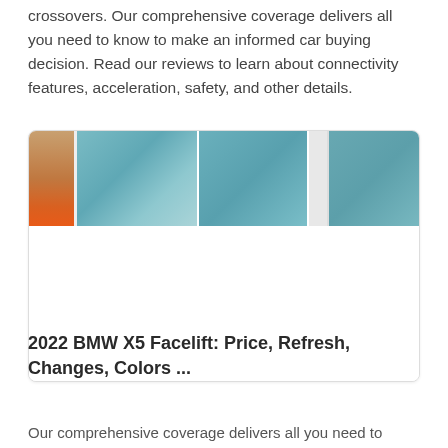crossovers. Our comprehensive coverage delivers all you need to know to make an informed car buying decision. Read our reviews to learn about connectivity features, acceleration, safety, and other details.
[Figure (photo): A horizontal strip of car images showing BMW X5 from multiple angles, with segments of the car exterior visible including windows and body panels against varying backgrounds.]
2022 BMW X5 Facelift: Price, Refresh, Changes, Colors ...
Our comprehensive coverage delivers all you need to